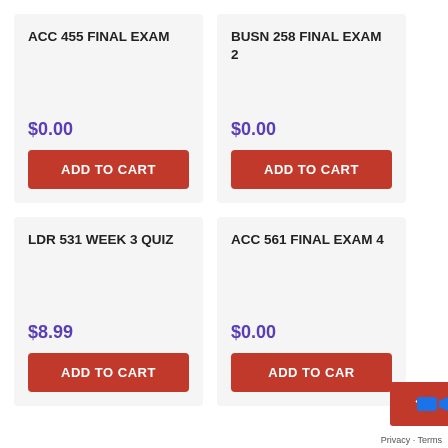ACC 455 FINAL EXAM
$0.00
ADD TO CART
BUSN 258 FINAL EXAM 2
$0.00
ADD TO CART
LDR 531 WEEK 3 QUIZ
$8.99
ADD TO CART
ACC 561 FINAL EXAM 4
$0.00
ADD TO CART
Privacy · Terms